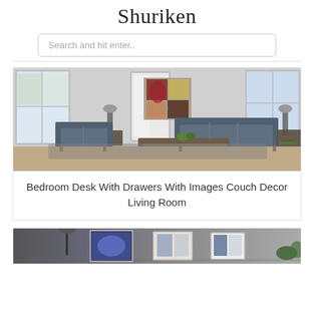Shuriken
Search and hit enter..
[Figure (photo): A modern living room with grey leather sofa set, coffee table, large windows, and abstract wall art painting]
Bedroom Desk With Drawers With Images Couch Decor Living Room
[Figure (photo): Partial view of a second article card showing framed art/decorative images in a room setting]